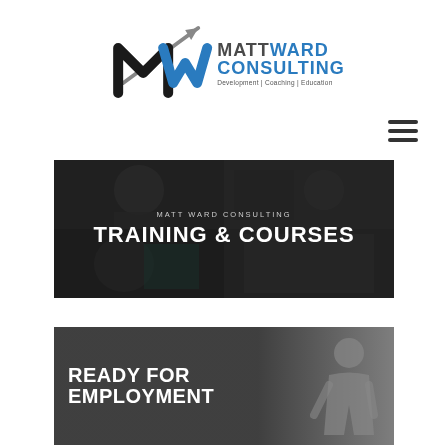[Figure (logo): Matt Ward Consulting logo with stylized MW monogram in black and blue with upward arrow, and text 'MATTWARD CONSULTING Development | Coaching | Education']
[Figure (other): Hamburger menu icon with three horizontal lines]
[Figure (photo): Dark banner image showing a photo collage of training scenes with text overlay 'MATT WARD CONSULTING' and 'TRAINING & COURSES']
[Figure (photo): Dark banner image with text 'READY FOR EMPLOYMENT' and a person on the right side]